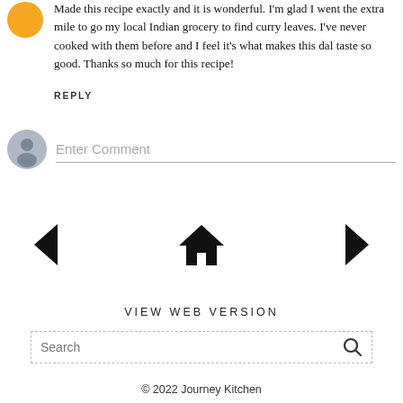Made this recipe exactly and it is wonderful. I'm glad I went the extra mile to go my local Indian grocery to find curry leaves. I've never cooked with them before and I feel it's what makes this dal taste so good. Thanks so much for this recipe!
REPLY
[Figure (other): Gray user avatar circle icon for comment input]
Enter Comment
[Figure (other): Navigation row with left chevron, home icon, and right chevron]
VIEW WEB VERSION
Search
© 2022 Journey Kitchen